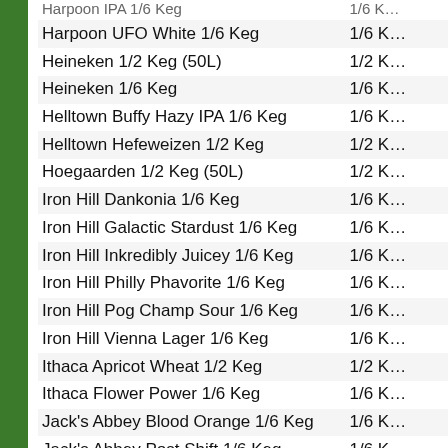| Product | Size |
| --- | --- |
| Harpoon IPA 1/6 Keg | 1/6 Keg |
| Harpoon UFO White 1/6 Keg | 1/6 Keg |
| Heineken 1/2 Keg (50L) | 1/2 Keg |
| Heineken 1/6 Keg | 1/6 Keg |
| Helltown Buffy Hazy IPA 1/6 Keg | 1/6 Keg |
| Helltown Hefeweizen 1/2 Keg | 1/2 Keg |
| Hoegaarden 1/2 Keg (50L) | 1/2 Keg |
| Iron Hill Dankonia 1/6 Keg | 1/6 Keg |
| Iron Hill Galactic Stardust 1/6 Keg | 1/6 Keg |
| Iron Hill Inkredibly Juicey 1/6 Keg | 1/6 Keg |
| Iron Hill Philly Phavorite 1/6 Keg | 1/6 Keg |
| Iron Hill Pog Champ Sour 1/6 Keg | 1/6 Keg |
| Iron Hill Vienna Lager 1/6 Keg | 1/6 Keg |
| Ithaca Apricot Wheat  1/2 Keg | 1/2 Keg |
| Ithaca Flower Power 1/6 Keg | 1/6 Keg |
| Jack's Abbey Blood Orange 1/6 Keg | 1/6 Keg |
| Jack's Abbey Post Shift 1/6 Keg | 1/6 Keg |
| Jughandle Gateway White 1/6 Keg | 1/6 Keg |
| Jughandle Hopshorne Idaho 7 1/6 Keg | 1/6 Keg |
| Jughandle Hopside Fakie 1/6 Keg | 1/6 Keg |
| Jughandle Powerslide NEIPA 1/6 Keg | 1/6 Keg |
| Jughandle Sour Wheels Straw-Banan 1/6 Keg | 1/6 Keg |
| Kauntops Light 1/2 Keg | 1/2 Keg |